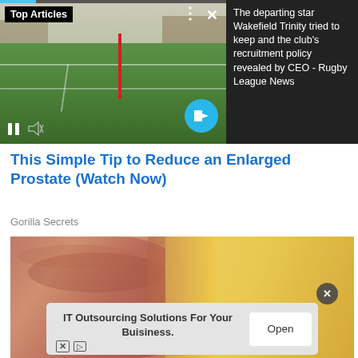[Figure (screenshot): Video player showing a rugby/football field with green grass, stands, and a red goal post. Controls include pause button, mute button, and a cyan arrow button. A progress bar at top shows partial playback. 'Top Articles' label in black bar top-left. Three dots menu and X close button top-right.]
The departing star Wakefield Trinity tried to keep and the club's recruitment policy revealed by CEO - Rugby League News
This Simple Tip to Reduce an Enlarged Prostate (Watch Now)
Gorilla Secrets
[Figure (photo): Close-up photo of a hand or foot with skin touching a yellow surface, possibly medical/health related advertisement image. An X close button overlaid on the image.]
IT Outsourcing Solutions For Your Buisiness.
Open